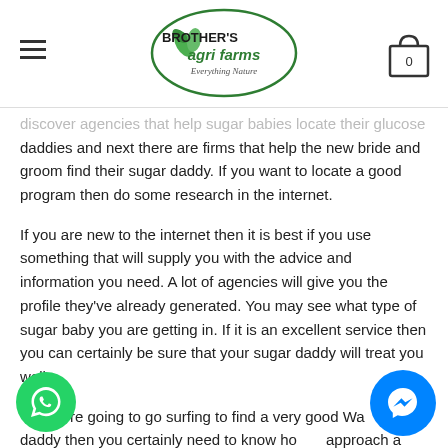Brother's Agri Farms — Everything Nature
discover agencies that help sugar babies locate their glucose daddies and next there are firms that help the new bride and groom find their sugar daddy. If you want to locate a good program then do some research in the internet.
If you are new to the internet then it is best if you use something that will supply you with the advice and information you need. A lot of agencies will give you the profile they've already generated. You may see what type of sugar baby you are getting in. If it is an excellent service then you can certainly be sure that your sugar daddy will treat you well.
re going to go surfing to find a very good Wa ar daddy then you certainly need to know how approach a certain person or people. First you need to find